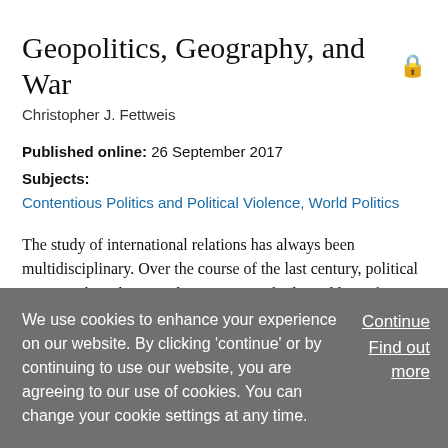Article
Geopolitics, Geography, and War
Christopher J. Fettweis
Published online: 26 September 2017
Subjects:
Contentious Politics and Political Violence, World Politics
The study of international relations has always been multidisciplinary. Over the course of the last century, political scientists have borrowed concepts, methods, and logic from a wide range of fields—from history, psychology, economics, law, sociology, anthropology, and others—in
We use cookies to enhance your experience on our website. By clicking 'continue' or by continuing to use our website, you are agreeing to our use of cookies. You can change your cookie settings at any time.
Continue
Find out more